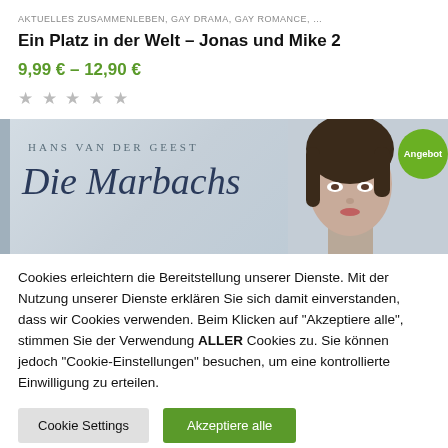AKTUELLES ZUSAMMENLEBEN, GAY DRAMA, GAY ROMANCE, …
Ein Platz in der Welt – Jonas und Mike 2
9,99 € – 12,90 €
★ ★ ★ ★ ★
[Figure (illustration): Book cover banner for 'Die Marbachs' by Hans van der Geest. Light blue-grey background with author name at top, cursive title text, partial image of a woman's face on the right, and a green 'Angebot' badge in the top right corner.]
Cookies erleichtern die Bereitstellung unserer Dienste. Mit der Nutzung unserer Dienste erklären Sie sich damit einverstanden, dass wir Cookies verwenden. Beim Klicken auf "Akzeptiere alle", stimmen Sie der Verwendung ALLER Cookies zu. Sie können jedoch "Cookie-Einstellungen" besuchen, um eine kontrollierte Einwilligung zu erteilen.
Cookie Settings | Akzeptiere alle